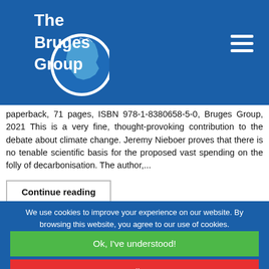[Figure (logo): The Bruges Group logo — white text 'The Bruges Group' with a globe/Europe map illustration on blue background]
paperback, 71 pages, ISBN 978-1-8380658-5-0, Bruges Group, 2021 This is a very fine, thought-provoking contribution to the debate about climate change. Jeremy Nieboer proves that there is no tenable scientific basis for the proposed vast spending on the folly of decarbonisation. The author,...
Continue reading
We use cookies to improve your experience on our website. By browsing this website, you agree to our use of cookies.
Ok, I've understood!
Decline